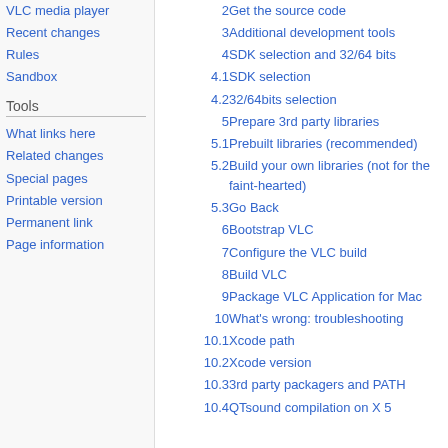VLC media player
Recent changes
Rules
Sandbox
Tools
What links here
Related changes
Special pages
Printable version
Permanent link
Page information
2  Get the source code
3  Additional development tools
4  SDK selection and 32/64 bits
4.1  SDK selection
4.2  32/64bits selection
5  Prepare 3rd party libraries
5.1  Prebuilt libraries (recommended)
5.2  Build your own libraries (not for the faint-hearted)
5.3  Go Back
6  Bootstrap VLC
7  Configure the VLC build
8  Build VLC
9  Package VLC Application for Mac
10  What's wrong: troubleshooting
10.1  Xcode path
10.2  Xcode version
10.3  3rd party packagers and PATH
10.4  QTsound compilation on X 5